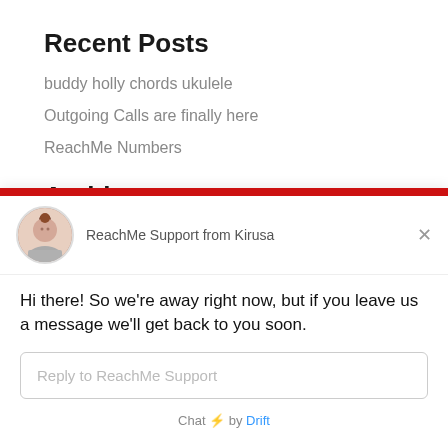Recent Posts
buddy holly chords ukulele
Outgoing Calls are finally here
ReachMe Numbers
Archives
November 2020
r 2018
[Figure (screenshot): Chat widget overlay from ReachMe Support / Kirusa with message: Hi there! So we're away right now, but if you leave us a message we'll get back to you soon. Reply input field and Drift branding at bottom.]